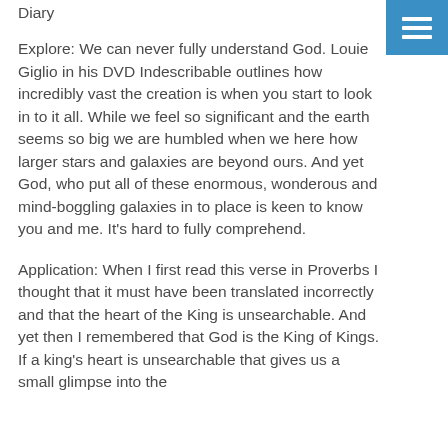Diary
Explore:  We can never fully understand God.  Louie Giglio in his DVD Indescribable outlines how incredibly vast the creation is when you start to look in to it all.  While we feel so significant and the earth seems so big we are humbled when we here how larger stars and galaxies are beyond ours.  And yet God, who put all of these enormous, wonderous and mind-boggling galaxies in to place is keen to know you and me. It's hard to fully comprehend.
Application:  When I first read this verse in Proverbs I thought that it must have been translated incorrectly and that the heart of the King is unsearchable.  And yet then I remembered that God is the King of Kings.  If a king's heart is unsearchable that gives us a small glimpse into the